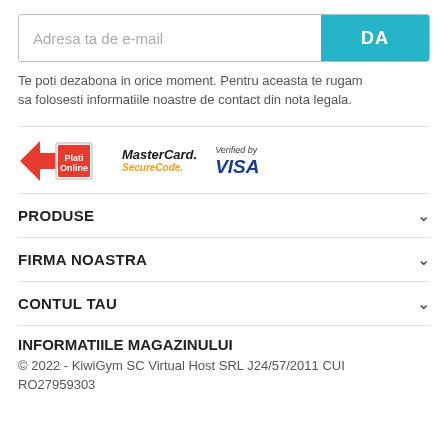Adresa ta de e-mail
Te poti dezabona in orice moment. Pentru aceasta te rugam sa folosesti informatiile noastre de contact din nota legala.
[Figure (logo): Payment logos: Plati Online, MasterCard SecureCode, Verified by VISA]
PRODUSE
FIRMA NOASTRA
CONTUL TAU
INFORMATIILE MAGAZINULUI
© 2022 - KiwiGym SC Virtual Host SRL J24/57/2011 CUI RO27959303